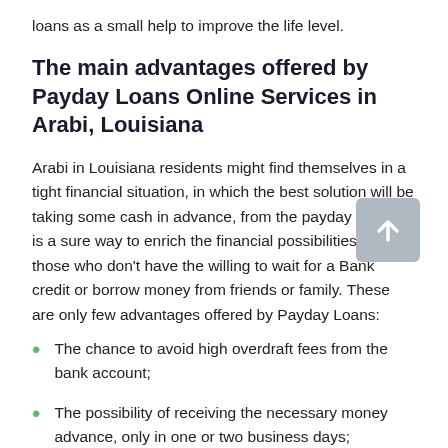loans as a small help to improve the life level.
The main advantages offered by Payday Loans Online Services in Arabi, Louisiana
Arabi in Louisiana residents might find themselves in a tight financial situation, in which the best solution will be taking some cash in advance, from the payday loans. It is a sure way to enrich the financial possibilities for those who don't have the willing to wait for a Bank credit or borrow money from friends or family. These are only few advantages offered by Payday Loans:
The chance to avoid high overdraft fees from the bank account;
The possibility of receiving the necessary money advance, only in one or two business days;
The quick Payday Loans No Credit Check system exempts from addition time spending;